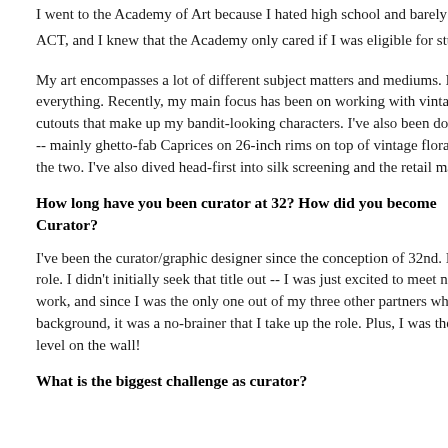I went to the Academy of Art because I hated high school and barely made it ACT, and I knew that the Academy only cared if I was eligible for student loa
My art encompasses a lot of different subject matters and mediums. I really e everything. Recently, my main focus has been on working with vintage fabric cutouts that make up my bandit-looking characters. I've also been doing some -- mainly ghetto-fab Caprices on 26-inch rims on top of vintage floral pattern the two. I've also dived head-first into silk screening and the retail market; Re
How long have you been curator at 32? How did you become Curator?
I've been the curator/graphic designer since the conception of 32nd. I kind of role. I didn't initially seek that title out -- I was just excited to meet new artist work, and since I was the only one out of my three other partners who had an background, it was a no-brainer that I take up the role. Plus, I was the only or level on the wall!
What is the biggest challenge as curator?